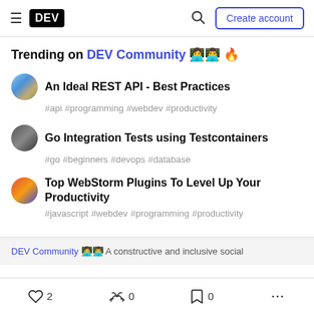DEV — Create account
Trending on DEV Community 🔥
An Ideal REST API - Best Practices
#api #programming #webdev #productivity
Go Integration Tests using Testcontainers
#go #beginners #devops #database
Top WebStorm Plugins To Level Up Your Productivity
#javascript #webdev #programming #productivity
DEV Community — A constructive and inclusive social
♡ 2   🦄 0   🔖 0   ...